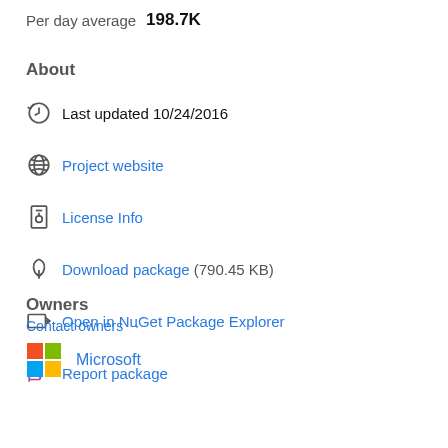Per day average  198.7K
About
Last updated 10/24/2016
Project website
License Info
Download package  (790.45 KB)
Open in NuGet Package Explorer
Report package
Owners
Contact owners →
Microsoft